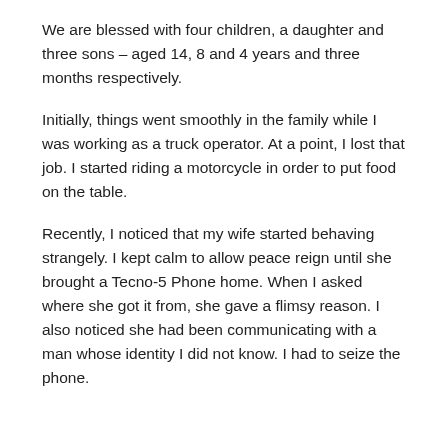We are blessed with four children, a daughter and three sons – aged 14, 8 and 4 years and three months respectively.
Initially, things went smoothly in the family while I was working as a truck operator. At a point, I lost that job. I started riding a motorcycle in order to put food on the table.
Recently, I noticed that my wife started behaving strangely. I kept calm to allow peace reign until she brought a Tecno-5 Phone home. When I asked where she got it from, she gave a flimsy reason. I also noticed she had been communicating with a man whose identity I did not know. I had to seize the phone.